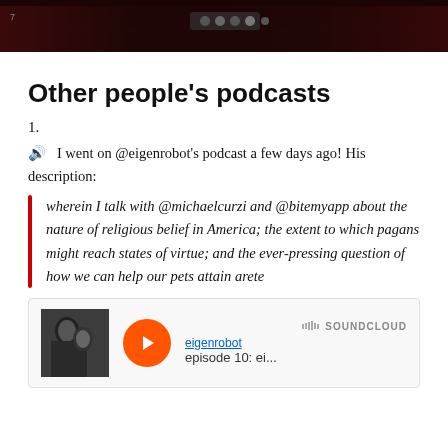[Figure (screenshot): Dark banner/header screenshot showing a game or media player interface with dark red/brown background and control icons]
Other people's podcasts
1.
🔊  I went on @eigenrobot's podcast a few days ago! His description:
wherein I talk with @michaelcurzi and @bitemyapp about the nature of religious belief in America; the extent to which pagans might reach states of virtue; and the ever-pressing question of how we can help our pets attain arete
[Figure (screenshot): SoundCloud embed player showing eigenrobot episode 10: ei... with orange play button, thumbnail image, and SoundCloud logo]